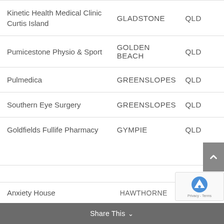| Name | City | State |
| --- | --- | --- |
| Kinetic Health Medical Clinic Curtis Island | GLADSTONE | QLD |
| Pumicestone Physio & Sport | GOLDEN BEACH | QLD |
| Pulmedica | GREENSLOPES | QLD |
| Southern Eye Surgery | GREENSLOPES | QLD |
| Goldfields Fullife Pharmacy | GYMPIE | QLD |
| Anxiety House | HAWTHORNE | QLD |
Share This ∨